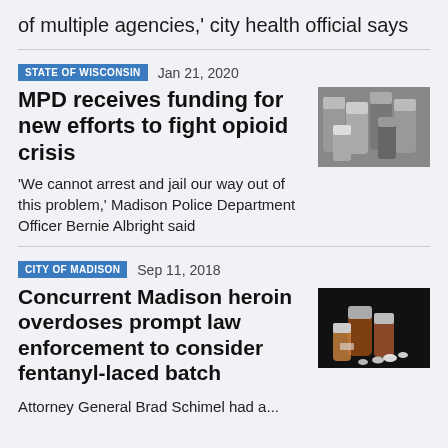of multiple agencies,' city health official says
STATE OF WISCONSIN
Jan 21, 2020
MPD receives funding for new efforts to fight opioid crisis
'We cannot arrest and jail our way out of this problem,' Madison Police Department Officer Bernie Albright said
[Figure (photo): Prescription pill bottles, some open, viewed from above]
CITY OF MADISON
Sep 11, 2018
Concurrent Madison heroin overdoses prompt law enforcement to consider fentanyl-laced batch
Attorney General Brad Schimel had a...
[Figure (photo): Prescription pill bottles lying on dark background with white pills spilled out]